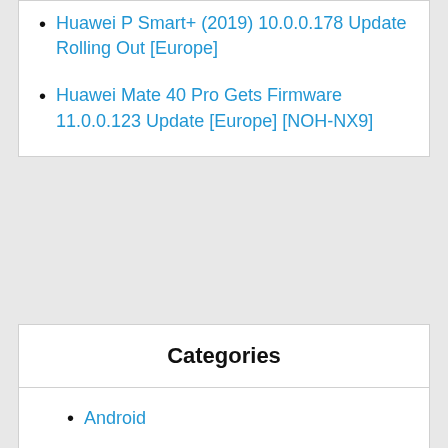Huawei P Smart+ (2019) 10.0.0.178 Update Rolling Out [Europe]
Huawei Mate 40 Pro Gets Firmware 11.0.0.123 Update [Europe] [NOH-NX9]
Categories
Android
Apple iOS